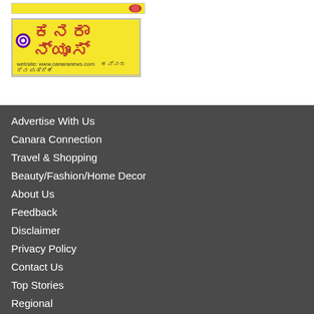[Figure (logo): Yellow banner strip with decorative flower/rose icon at top right]
[Figure (logo): Canara News newspaper logo banner with spiral icon, Kannada script title in red on yellow background, subtitle text and footer strip with publication details]
Advertise With Us
Canara Connection
Travel & Shopping
Beauty/Fashion/Home Decor
About Us
Feedback
Disclaimer
Privacy Policy
Contact Us
Top Stories
Regional